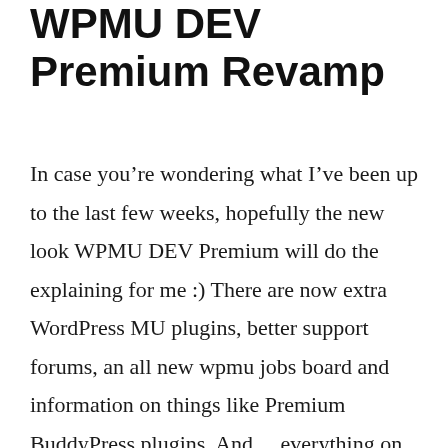WPMU DEV Premium Revamp
In case you’re wondering what I’ve been up to the last few weeks, hopefully the new look WPMU DEV Premium will do the explaining for me :) There are now extra WordPress MU plugins, better support forums, an all new wpmu jobs board and information on things like Premium BuddyPress plugins. And… everything on there …